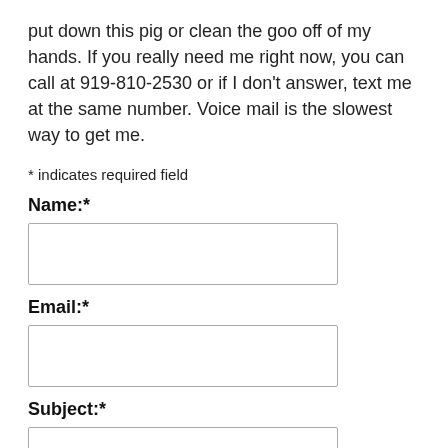put down this pig or clean the goo off of my hands. If you really need me right now, you can call at 919-810-2530 or if I don't answer, text me at the same number. Voice mail is the slowest way to get me.
* indicates required field
Name:*
Email:*
Subject:*
Message:*